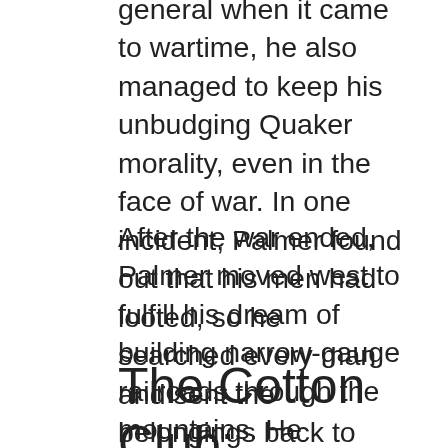general when it came to wartime, he also managed to keep his unbudging Quaker morality, even in the face of war. In one incident, Palmer found out that his men had looted, so he searched every man and sent the belongings back to their owners.
After the war ended, Palmer moved west to fulfill his dream of building narrow-gauge railroads through the mountains. He eventually ended up in the Fountain Colony, which became the city of Colorado Springs under his care in 1871.
The Cotton Club: Colorado's First Integrated Jazz Club